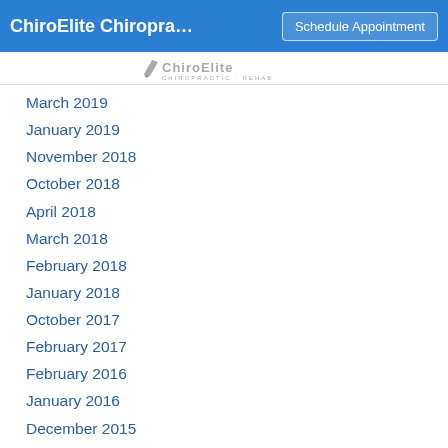ChiroElite Chiropra… | Schedule Appointment
[Figure (logo): ChiroElite Chiropractic + Rehab logo in gray]
March 2019
January 2019
November 2018
October 2018
April 2018
March 2018
February 2018
January 2018
October 2017
February 2017
February 2016
January 2016
December 2015
November 2015
September 2015
May 2015
April 2015